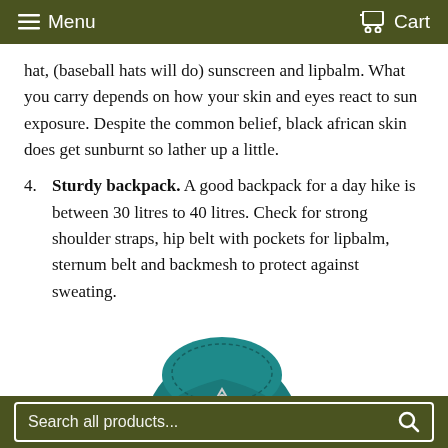Menu | Cart
hat, (baseball hats will do) sunscreen and lipbalm. What you carry depends on how your skin and eyes react to sun exposure. Despite the common belief, black african skin does get sunburnt so lather up a little.
4. Sturdy backpack. A good backpack for a day hike is between 30 litres to 40 litres. Check for strong shoulder straps, hip belt with pockets for lipbalm, sternum belt and backmesh to protect against sweating.
[Figure (photo): A teal/dark cyan hiking backpack with orange accents, grey shoulder straps, and a brand logo on the front, shown from a front-angled view.]
Search all products...